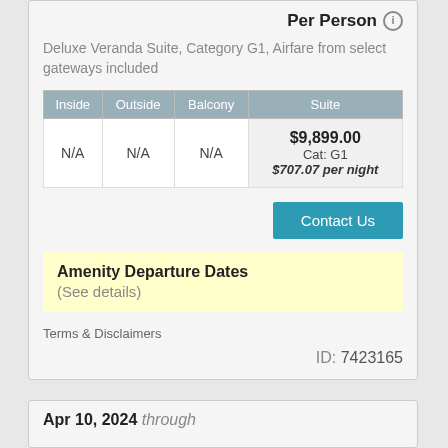Per Person
Deluxe Veranda Suite, Category G1, Airfare from select gateways included
| Inside | Outside | Balcony | Suite |
| --- | --- | --- | --- |
| N/A | N/A | N/A | $9,899.00
Cat: G1
$707.07 per night |
Contact Us
Amenity Departure Dates
(See details)
Terms & Disclaimers
ID: 7423165
Apr 10, 2024 through